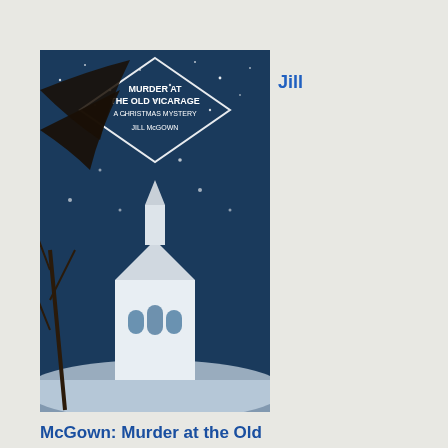Jill
[Figure (photo): Book cover: Murder at the Old Vicarage: A Christmas Mystery by Jill McGown. Dark blue snowy night scene with a church and bare tree branches against a starry sky.]
McGown: Murder at the Old Vicarage: A Christmas Mystery
James
[Figure (photo): Book cover: Run For Your Life by James Patterson and Michael Ledwidge. Dark cover showing a man from behind wearing a jacket, against a city skyline with tall glass buildings.]
Patterson: Run For Your Life
loo after and sup Oth thin hav to fall by the wa I am afra not blo I has to adc I lov the